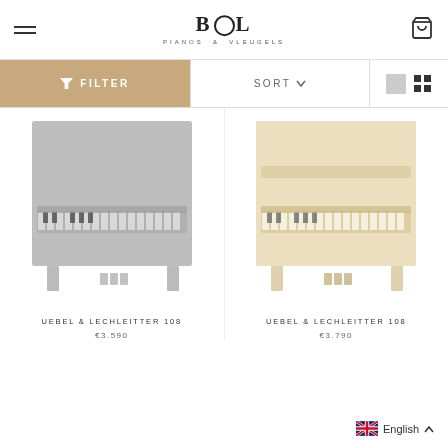BOL Pianos & Vleugels — Navigation header with logo, hamburger menu, and cart icon
FILTER | SORT | view toggle
[Figure (photo): Upright black piano (Uebel & Lechleitter 108) shown in dark/greyscale tones, front view with keyboard visible]
UEBEL & LECHLEITTER 108
€3.590
[Figure (photo): Upright cream/ivory piano (Uebel & Lechleitter 108) shown in light beige tones, front view with keyboard visible]
UEBEL & LECHLEITTER 108
€3.790
English